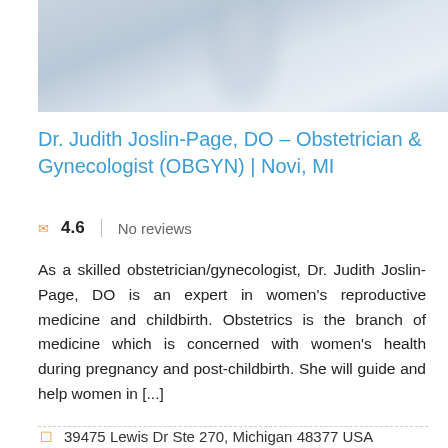[Figure (photo): Blurred background photo of a person in a white coat, likely a doctor, in a clinical setting]
Dr. Judith Joslin-Page, DO – Obstetrician & Gynecologist (OBGYN) | Novi, MI
4.6  |  No reviews
As a skilled obstetrician/gynecologist, Dr. Judith Joslin-Page, DO is an expert in women's reproductive medicine and childbirth. Obstetrics is the branch of medicine which is concerned with women's health during pregnancy and post-childbirth. She will guide and help women in [...]
read more »
39475 Lewis Dr Ste 270, Michigan 48377 USA